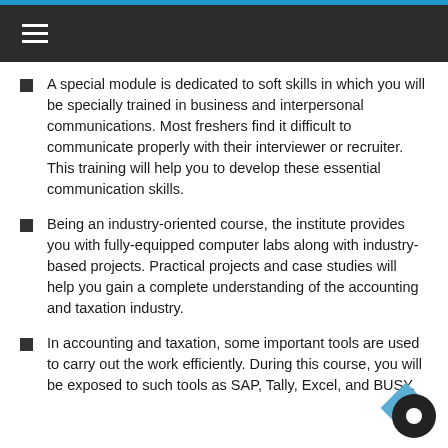≡
A special module is dedicated to soft skills in which you will be specially trained in business and interpersonal communications. Most freshers find it difficult to communicate properly with their interviewer or recruiter. This training will help you to develop these essential communication skills.
Being an industry-oriented course, the institute provides you with fully-equipped computer labs along with industry-based projects. Practical projects and case studies will help you gain a complete understanding of the accounting and taxation industry.
In accounting and taxation, some important tools are used to carry out the work efficiently. During this course, you will be exposed to such tools as SAP, Tally, Excel, and BUSY.